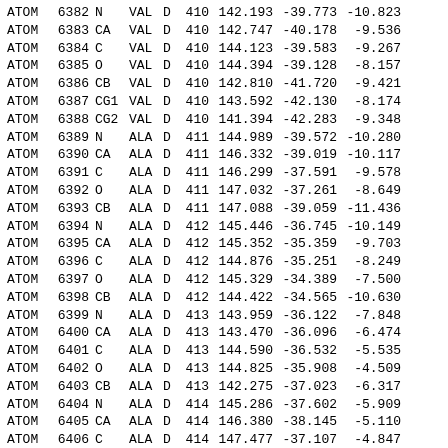|  |  |  |  |  |  | x | y | z |
| --- | --- | --- | --- | --- | --- | --- | --- | --- |
| ATOM | 6382 | N | VAL | D | 410 | 142.193 | -39.773 | -10.823 |
| ATOM | 6383 | CA | VAL | D | 410 | 142.747 | -40.178 | -9.536 |
| ATOM | 6384 | C | VAL | D | 410 | 144.123 | -39.583 | -9.267 |
| ATOM | 6385 | O | VAL | D | 410 | 144.394 | -39.128 | -8.157 |
| ATOM | 6386 | CB | VAL | D | 410 | 142.810 | -41.720 | -9.421 |
| ATOM | 6387 | CG1 | VAL | D | 410 | 143.592 | -42.130 | -8.174 |
| ATOM | 6388 | CG2 | VAL | D | 410 | 141.394 | -42.283 | -9.348 |
| ATOM | 6389 | N | ALA | D | 411 | 144.989 | -39.572 | -10.280 |
| ATOM | 6390 | CA | ALA | D | 411 | 146.332 | -39.019 | -10.117 |
| ATOM | 6391 | C | ALA | D | 411 | 146.299 | -37.591 | -9.578 |
| ATOM | 6392 | O | ALA | D | 411 | 147.032 | -37.261 | -8.649 |
| ATOM | 6393 | CB | ALA | D | 411 | 147.088 | -39.059 | -11.436 |
| ATOM | 6394 | N | ALA | D | 412 | 145.446 | -36.745 | -10.149 |
| ATOM | 6395 | CA | ALA | D | 412 | 145.352 | -35.359 | -9.703 |
| ATOM | 6396 | C | ALA | D | 412 | 144.876 | -35.251 | -8.249 |
| ATOM | 6397 | O | ALA | D | 412 | 145.329 | -34.389 | -7.500 |
| ATOM | 6398 | CB | ALA | D | 412 | 144.422 | -34.565 | -10.630 |
| ATOM | 6399 | N | ALA | D | 413 | 143.959 | -36.122 | -7.848 |
| ATOM | 6400 | CA | ALA | D | 413 | 143.470 | -36.096 | -6.474 |
| ATOM | 6401 | C | ALA | D | 413 | 144.590 | -36.532 | -5.535 |
| ATOM | 6402 | O | ALA | D | 413 | 144.825 | -35.908 | -4.509 |
| ATOM | 6403 | CB | ALA | D | 413 | 142.275 | -37.023 | -6.317 |
| ATOM | 6404 | N | ALA | D | 414 | 145.286 | -37.602 | -5.909 |
| ATOM | 6405 | CA | ALA | D | 414 | 146.380 | -38.145 | -5.110 |
| ATOM | 6406 | C | ALA | D | 414 | 147.477 | -37.107 | -4.847 |
| ATOM | 6407 | O | ALA | D | 414 | 148.052 | -37.062 | -3.756 |
| ATOM | 6408 | CB | ALA | D | 414 | 146.964 | -39.370 | -5.803 |
| ATOM | 6409 | N | LYS | D | 415 | 147.759 | -36.272 | -5.843 |
| ATOM | 6410 | CA | LYS | D | 415 | 148.787 | -35.244 | -5.702 |
| ATOM | 6411 | C | LYS | D | 415 | 148.493 | -34.283 | -4.571 |